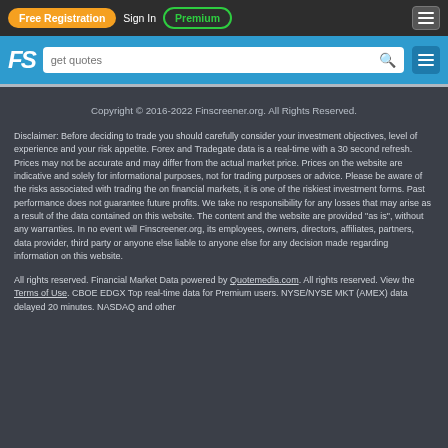Free Registration | Sign In | Premium
[Figure (logo): Finscreener FS logo with search bar 'get quotes']
Copyright © 2016-2022 Finscreener.org. All Rights Reserved.
Disclaimer: Before deciding to trade you should carefully consider your investment objectives, level of experience and your risk appetite. Forex and Tradegate data is a real-time with a 30 second refresh. Prices may not be accurate and may differ from the actual market price. Prices on the website are indicative and solely for informational purposes, not for trading purposes or advice. Please be aware of the risks associated with trading the on financial markets, it is one of the riskiest investment forms. Past performance does not guarantee future profits. We take no responsibility for any losses that may arise as a result of the data contained on this website. The content and the website are provided "as is", without any warranties. In no event will Finscreener.org, its employees, owners, directors, affiliates, partners, data provider, third party or anyone else liable to anyone else for any decision made regarding information on this website.
All rights reserved. Financial Market Data powered by Quotemedia.com. All rights reserved. View the Terms of Use. CBOE EDGX Top real-time data for Premium users. NYSE/NYSE MKT (AMEX) data delayed 20 minutes. NASDAQ and other